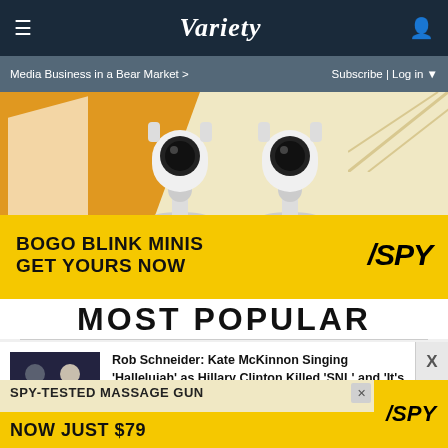Variety
Media Business in a Bear Market >  Subscribe | Log in
[Figure (photo): Advertisement banner for Blink Mini security cameras (BOGO deal) with SPY logo. Shows white camera devices on yellow/cream background. Bottom yellow bar reads: BOGO BLINK MINIS GET YOURS NOW with SPY logo.]
MOST POPULAR
[Figure (photo): Thumbnail image of Rob Schneider and Kate McKinnon]
Rob Schneider: Kate McKinnon Singing 'Hallelujah' as Hillary Clinton Killed 'SNL' and 'It's Not Going to Come Back...
[Figure (photo): Advertisement banner: SPY-TESTED MASSAGE GUN NOW JUST $79 with SPY logo]